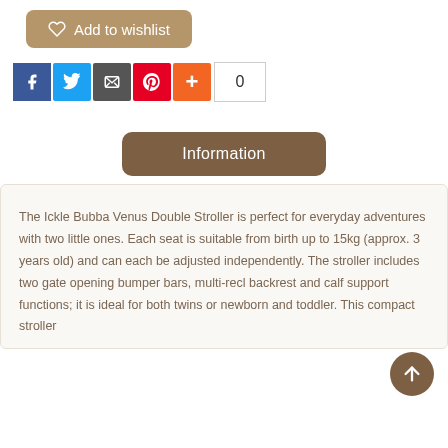[Figure (other): Add to wishlist button with heart icon, tan/brown color]
[Figure (other): Social share icons row: Facebook, Twitter, Email, Pinterest, Add (+), and share count box showing 0]
[Figure (other): Information tab button, dark brown rounded rectangle]
The Ickle Bubba Venus Double Stroller is perfect for everyday adventures with two little ones. Each seat is suitable from birth up to 15kg (approx. 3 years old) and can each be adjusted independently. The stroller includes two gate opening bumper bars, multi-recl backrest and calf support functions; it is ideal for both twins or newborn and toddler. This compact stroller